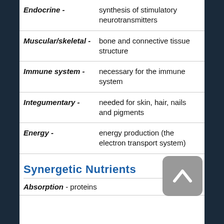| System | Description |
| --- | --- |
| Endocrine - | synthesis of stimulatory neurotransmitters |
| Muscular/skeletal - | bone and connective tissue structure |
| Immune system - | necessary for the immune system |
| Integumentary - | needed for skin, hair, nails and pigments |
| Energy - | energy production (the electron transport system) |
Synergetic Nutrients
Absorption - proteins